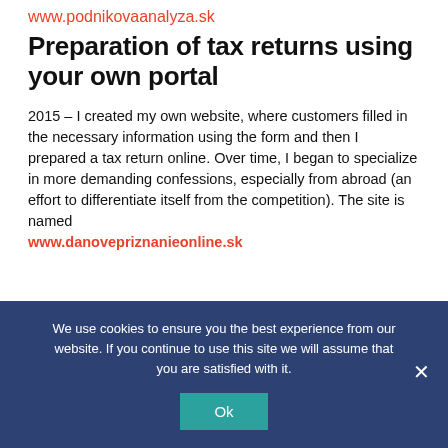www.podnikovaanalyza.sk
Preparation of tax returns using your own portal
2015 – I created my own website, where customers filled in the necessary information using the form and then I prepared a tax return online. Over time, I began to specialize in more demanding confessions, especially from abroad (an effort to differentiate itself from the competition). The site is named www.danovepriznanieonline.sk
We use cookies to ensure you the best experience from our website. If you continue to use this site we will assume that you are satisfied with it.
Ok